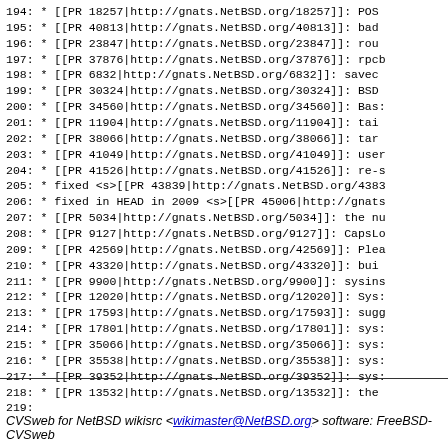194:  *  [[PR 18257|http://gnats.NetBSD.org/18257]]: POS
195:  *  [[PR 40813|http://gnats.NetBSD.org/40813]]: bad
196:  *  [[PR 23847|http://gnats.NetBSD.org/23847]]: rou
197:  *  [[PR 37876|http://gnats.NetBSD.org/37876]]: rpcb
198:  *  [[PR 6832|http://gnats.NetBSD.org/6832]]: savec
199:  *  [[PR 30324|http://gnats.NetBSD.org/30324]]: BSD
200:  *  [[PR 34560|http://gnats.NetBSD.org/34560]]: Bas:
201:  *  [[PR 11904|http://gnats.NetBSD.org/11904]]: tai
202:  *  [[PR 38066|http://gnats.NetBSD.org/38066]]: tar
203:  *  [[PR 41049|http://gnats.NetBSD.org/41049]]: user
204:  *  [[PR 41526|http://gnats.NetBSD.org/41526]]: re-s
205:  *  fixed <s>[[PR 43839|http://gnats.NetBSD.org/4383
206:  *  fixed in HEAD in 2009 <s>[[PR 45006|http://gnats
207:  *  [[PR 5034|http://gnats.NetBSD.org/5034]]: the nu
208:  *  [[PR 9127|http://gnats.NetBSD.org/9127]]: CapsLo
209:  *  [[PR 42569|http://gnats.NetBSD.org/42569]]: Plea
210:  *  [[PR 43320|http://gnats.NetBSD.org/43320]]: bui
211:  *  [[PR 9900|http://gnats.NetBSD.org/9900]]: sysins
212:  *  [[PR 12020|http://gnats.NetBSD.org/12020]]: Sys:
213:  *  [[PR 17593|http://gnats.NetBSD.org/17593]]: sugg
214:  *  [[PR 17801|http://gnats.NetBSD.org/17801]]: sys:
215:  *  [[PR 35066|http://gnats.NetBSD.org/35066]]: sys:
216:  *  [[PR 35538|http://gnats.NetBSD.org/35538]]: sys:
217:  *  [[PR 39352|http://gnats.NetBSD.org/39352]]: sys:
218:  *  [[PR 13532|http://gnats.NetBSD.org/13532]]: the
219:
CVSweb for NetBSD wikisrc <wikimaster@NetBSD.org> software: FreeBSD-CVSweb